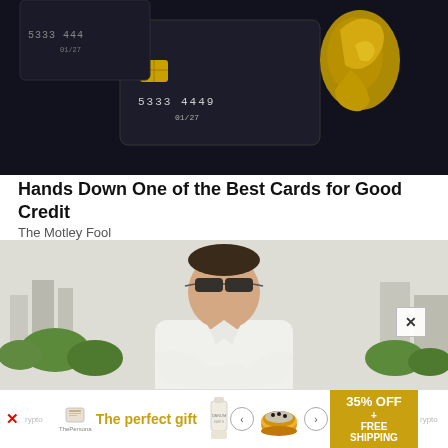[Figure (photo): Dark background image showing a black credit card with numbers '5333 4449' and expiry '01/27' next to a gold sculpture of a hand]
Hands Down One of the Best Cards for Good Credit
The Motley Fool
[Figure (photo): Man in white shirt wearing sunglasses seated outdoors with city buildings and trees visible in background]
[Figure (other): Advertisement banner: 'The perfect gift' with product images, navigation arrows, and '35% OFF + FREE SHIPPING' offer in gold section]